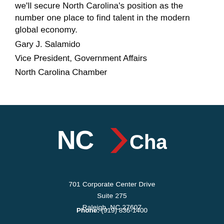we'll secure North Carolina's position as the number one place to find talent in the modern global economy.
Gary J. Salamido
Vice President, Government Affairs
North Carolina Chamber
[Figure (logo): NC Chamber logo with red arrow/chevron between NC and Chamber text, white text on dark teal background]
701 Corporate Center Drive
Suite 275
Raleigh, NC 27607
Phone: (919) 836-1400